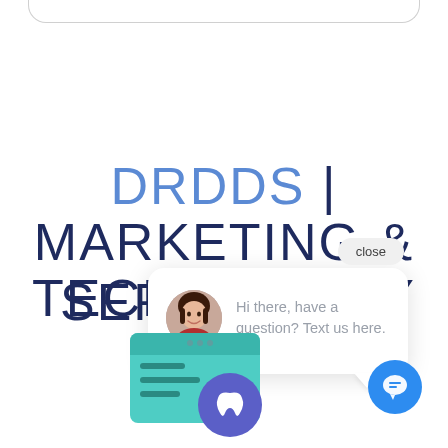[Figure (screenshot): Top navigation bar arc shape — partial rounded bottom border of a browser or app bar]
DRDDS | MARKETING & TECHNOLOGY SERVICES
[Figure (screenshot): Close button pill shape with text 'close']
close
[Figure (illustration): Chat popup box with a female avatar photo and text: 'Hi there, have a question? Text us here.']
Hi there, have a question? Text us here.
[Figure (illustration): Bottom dental/website illustration with teal browser mockup and tooth icon, plus blue chat bubble button in bottom right]